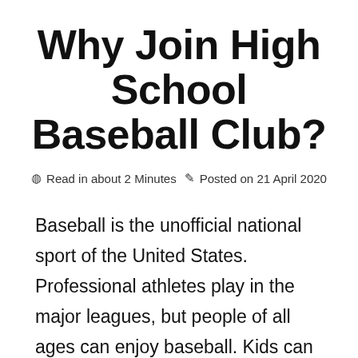Why Join High School Baseball Club?
⊙ Read in about 2 Minutes ✏ Posted on 21 April 2020
Baseball is the unofficial national sport of the United States. Professional athletes play in the major leagues, but people of all ages can enjoy baseball. Kids can get their start in Little League. If they want to continue to play as they get older, high school baseball clubs offer a great path to do